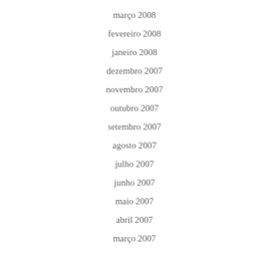março 2008
fevereiro 2008
janeiro 2008
dezembro 2007
novembro 2007
outubro 2007
setembro 2007
agosto 2007
julho 2007
junho 2007
maio 2007
abril 2007
março 2007